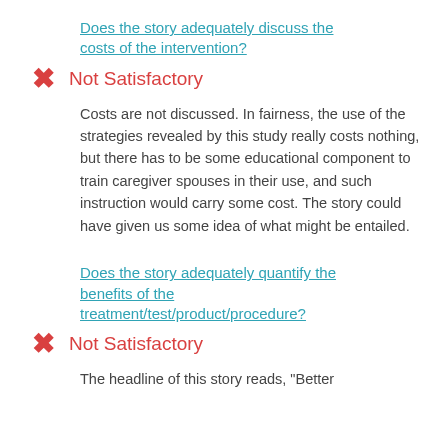Does the story adequately discuss the costs of the intervention?
Not Satisfactory
Costs are not discussed. In fairness, the use of the strategies revealed by this study really costs nothing, but there has to be some educational component to train caregiver spouses in their use, and such instruction would carry some cost. The story could have given us some idea of what might be entailed.
Does the story adequately quantify the benefits of the treatment/test/product/procedure?
Not Satisfactory
The headline of this story reads, “Better